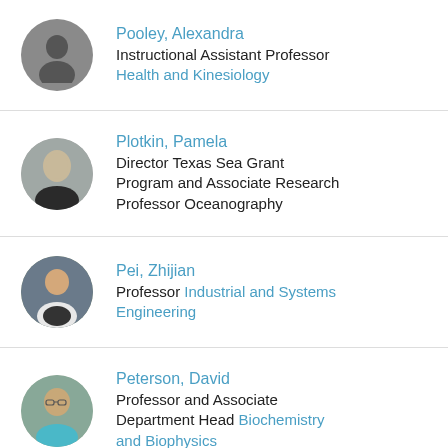Pooley, Alexandra — Instructional Assistant Professor — Health and Kinesiology
Plotkin, Pamela — Director Texas Sea Grant Program and Associate Research Professor Oceanography
Pei, Zhijian — Professor Industrial and Systems Engineering
Peterson, David — Professor and Associate Department Head Biochemistry and Biophysics
Partial entry (last row, cut off)